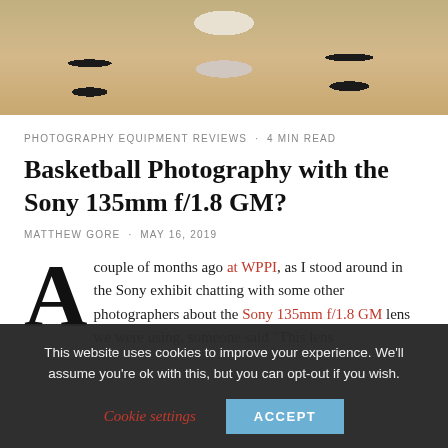[Figure (photo): Cropped photo of basketball players' legs and feet on a wooden court floor, wearing black socks and sports shoes.]
PHOTOGRAPHY EQUIPMENT REVIEWS · 4 MIN READ
Basketball Photography with the Sony 135mm f/1.8 GM?
MATTHEW GORE · MAY 16, 2019
A couple of months ago at WPPI, as I stood around in the Sony exhibit chatting with some other photographers about the Sony 135mm f/1.8 GM lens we were using, someone said "This lens
This website uses cookies to improve your experience. We'll assume you're ok with this, but you can opt-out if you wish.
Cookie settings  ACCEPT